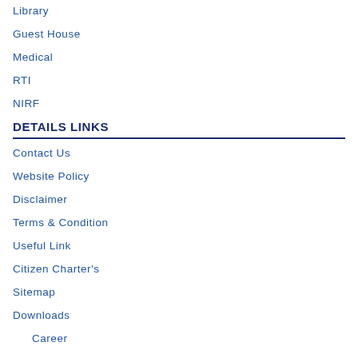Library
Guest House
Medical
RTI
NIRF
DETAILS LINKS
Contact Us
Website Policy
Disclaimer
Terms & Condition
Useful Link
Citizen Charter's
Sitemap
Downloads
Career